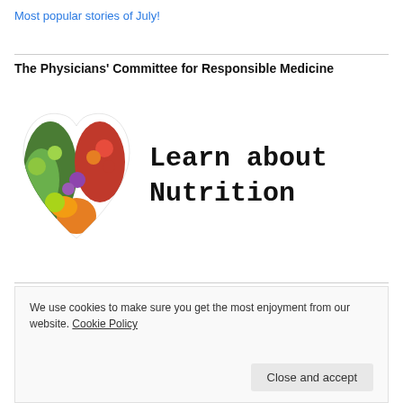Most popular stories of July!
The Physicians' Committee for Responsible Medicine
[Figure (illustration): Promotional banner for The Physicians' Committee for Responsible Medicine showing a heart shape made of vegetables and fruits on the left, and the text 'Learn about Nutrition' in typewriter font on the right.]
We're a supporter
We use cookies to make sure you get the most enjoyment from our website. Cookie Policy
Close and accept